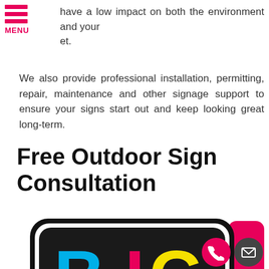MENU
have a low impact on both the environment and your et.
We also provide professional installation, permitting, repair, maintenance and other signage support to ensure your signs start out and keep looking great long-term.
Free Outdoor Sign Consultation
[Figure (logo): BIG logo — colorful letters B, I, G on a black rounded rectangle sign shape with pink side panel, against a white background. Phone and email contact buttons in bottom right.]